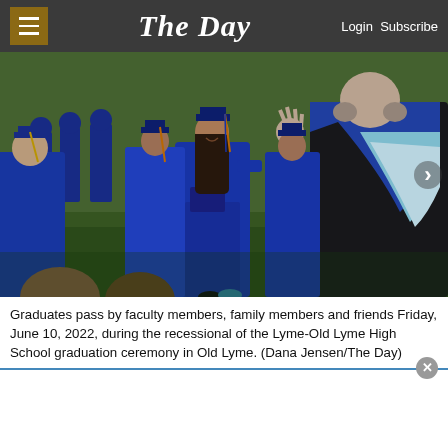The Day  Login Subscribe
[Figure (photo): Graduates in blue caps and gowns passing by faculty members in black academic regalia during the recessional of the Lyme-Old Lyme High School graduation ceremony outdoors on a green lawn.]
Graduates pass by faculty members, family members and friends Friday, June 10, 2022, during the recessional of the Lyme-Old Lyme High School graduation ceremony in Old Lyme. (Dana Jensen/The Day)